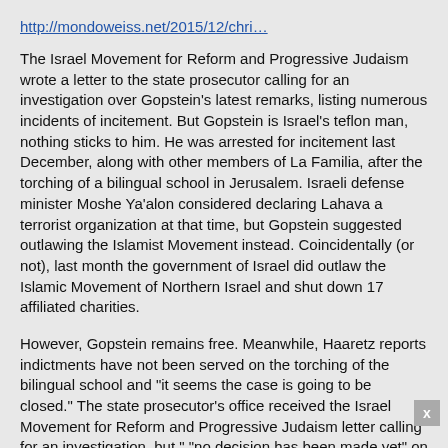http://mondoweiss.net/2015/12/chri…
The Israel Movement for Reform and Progressive Judaism wrote a letter to the state prosecutor calling for an investigation over Gopstein's latest remarks, listing numerous incidents of incitement. But Gopstein is Israel's teflon man, nothing sticks to him. He was arrested for incitement last December, along with other members of La Familia, after the torching of a bilingual school in Jerusalem. Israeli defense minister Moshe Ya'alon considered declaring Lahava a terrorist organization at that time, but Gopstein suggested outlawing the Islamist Movement instead. Coincidentally (or not), last month the government of Israel did outlaw the Islamic Movement of Northern Israel and shut down 17 affiliated charities.
However, Gopstein remains free. Meanwhile, Haaretz reports indictments have not been served on the torching of the bilingual school and "it seems the case is going to be closed." The state prosecutor's office received the Israel Movement for Reform and Progressive Judaism letter calling for an investigation, but " "no decision has been made yet" on the Lehava case."
Gopstein is the leader of a Kahanist network that has wreaked criminal havoc all over Israel and Palestine. From the torching of mosques, churches and schools, to price tag attacks, to murder. Investigations come and go, everything seems to fall off him like water off a duck's back. No wonder Gopstein and his cohorts keep